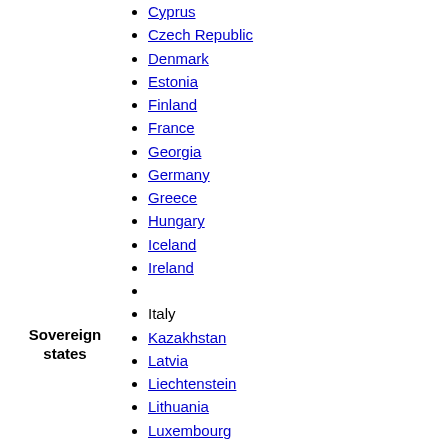Cyprus
Czech Republic
Denmark
Estonia
Finland
France
Georgia
Germany
Greece
Hungary
Iceland
Ireland
Italy
Kazakhstan
Latvia
Liechtenstein
Lithuania
Luxembourg
Malta
Moldova
Monaco
Montenegro
Netherlands
North Macedonia
Norway
Sovereign states